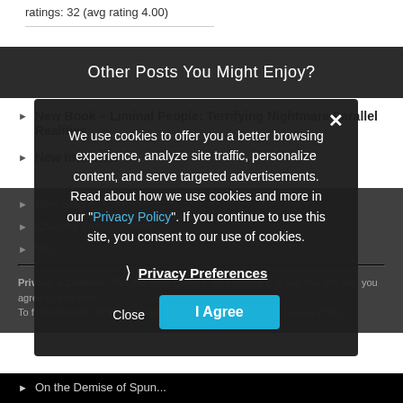ratings: 32 (avg rating 4.00)
Other Posts You Might Enjoy?
New Book – Liminal People: Terrifying Nightmare Parallel Realities
New Interview
New Single
Chasing The Guillotine
Ne...
Privacy & Cookies: This site uses cookies. By continuing to use this website, you agree to their use. To find out more, including how to control cookies, see here: Cookie Policy
On the Demise of Spun...
We use cookies to offer you a better browsing experience, analyze site traffic, personalize content, and serve targeted advertisements. Read about how we use cookies and more in our "Privacy Policy". If you continue to use this site, you consent to our use of cookies.
Privacy Preferences
I Agree